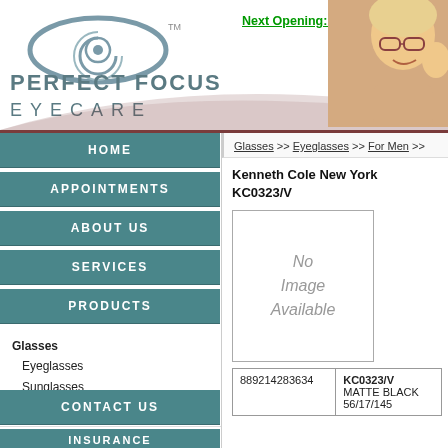[Figure (logo): Perfect Focus Eyecare logo with stylized eye/spiral graphic and text 'PERFECT FOCUS EYECARE']
Next Opening: tomorrow at 9:30 A
[Figure (photo): Photo of a young child wearing glasses, smiling]
HOME
APPOINTMENTS
ABOUT US
SERVICES
PRODUCTS
Glasses
Eyeglasses
Sunglasses
Contact Lenses
CONTACT US
INSURANCE
FAQ'S
PAY MY BILL
Glasses >> Eyeglasses >> For Men >>
Kenneth Cole New York KC0323/V
[Figure (other): No Image Available placeholder box]
| Barcode | Details |
| --- | --- |
| 889214283634 | KC0323/V
MATTE BLACK
56/17/145 |